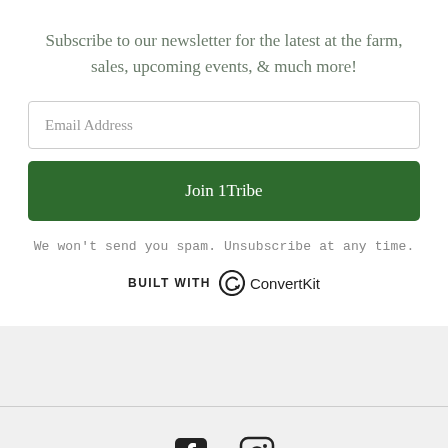Subscribe to our newsletter for the latest at the farm, sales, upcoming events, & much more!
Email Address
Join 1Tribe
We won't send you spam. Unsubscribe at any time.
[Figure (logo): ConvertKit logo with circular arrow icon and text 'ConvertKit', prefixed by 'BUILT WITH']
[Figure (logo): Facebook and Instagram social media icons]